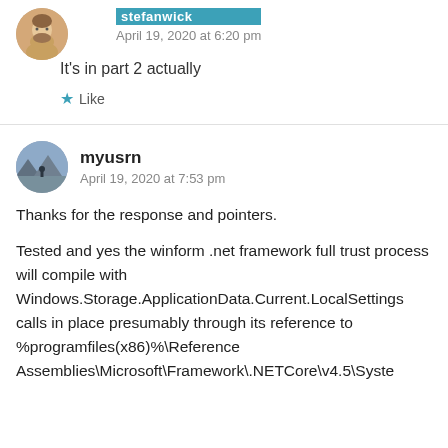stefanwick
April 19, 2020 at 6:20 pm
It's in part 2 actually
★ Like
myusrn
April 19, 2020 at 7:53 pm
Thanks for the response and pointers.
Tested and yes the winform .net framework full trust process will compile with Windows.Storage.ApplicationData.Current.LocalSettings calls in place presumably through its reference to %programfiles(x86)%\Reference Assemblies\Microsoft\Framework\.NETCore\v4.5\Syste